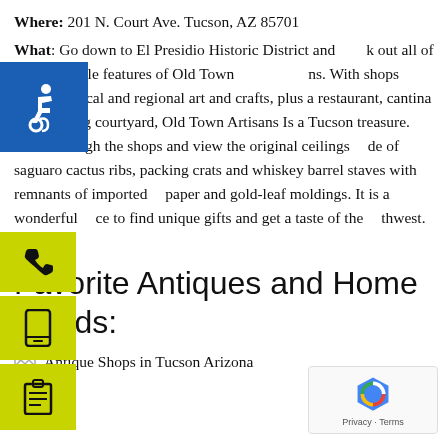Where: 201 N. Court Ave. Tucson, AZ 85701
What: Go down to El Presidio Historic District and check out all of the incredible features of Old Town Artisans. With shops featuring local and regional art and crafts, plus a restaurant, cantina and relaxing courtyard, Old Town Artisans Is a Tucson treasure. Stroll through the shops and view the original ceilings made of saguaro cactus ribs, packing crats and whiskey barrel staves with remnants of imported paper and gold-leaf moldings. It is a wonderful place to find unique gifts and get a taste of the Southwest.
Favorite Antiques and Home Goods:
Antique Shops in Tucson Arizona